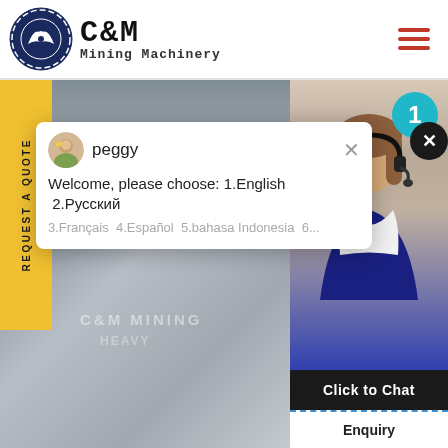[Figure (logo): C&M Mining Machinery logo with eagle gear emblem]
[Figure (screenshot): Website screenshot showing C&M Mining Machinery page with chat popup from 'peggy' saying 'Welcome, please choose: 1.English 2.Русский 3.Français 4.Español 5.bahasa Indonesia 6...' and a customer service agent photo with 'Click to Chat' and 'Enquiry' buttons]
Welcome, please choose: 1.English  2.Русский
3.Français  4.Español  5.bahasa Indonesia  6...
Click to Chat
Enquiry
REQUEST A QUOTE